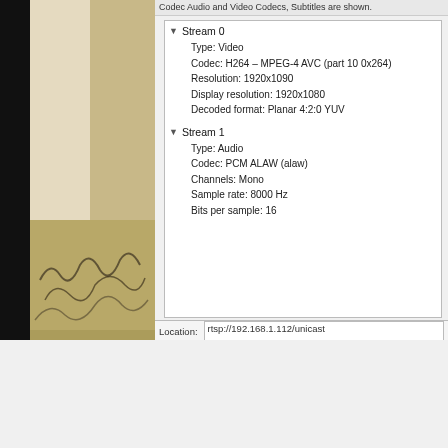[Figure (screenshot): Left panel shows a camera view with a dark background and a beige/tan indoor scene with some markings or plants visible at bottom.]
Codec Audio and Video Codecs, Subtitles are shown.
▼ Stream 0
    Type: Video
    Codec: H264 - MPEG-4 AVC (part 10 0x264)
    Resolution: 1920x1090
    Display resolution: 1920x1080
    Decoded format: Planar 4:2:0 YUV
▼ Stream 1
    Type: Audio
    Codec: PCM ALAW (alaw)
    Channels: Mono
    Sample rate: 8000 Hz
    Bits per sample: 16
Location:   rtsp://192.168.1.112/unicast